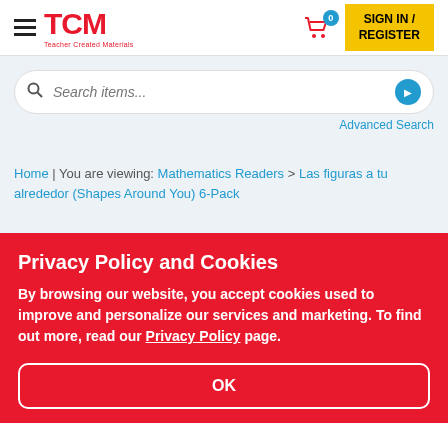TCM — Teacher Created Materials header with hamburger menu, logo, cart (0), SIGN IN / REGISTER button
Search items...
Advanced Search
Home | You are viewing: Mathematics Readers > Las figuras a tu alrededor (Shapes Around You) 6-Pack
Privacy Policy and Cookies
By browsing our website, you accept cookies used to improve and personalize our services and marketing. To find out more, read our Privacy Policy page.
OK